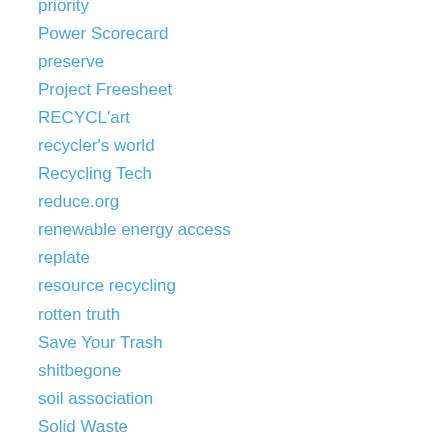priority
Power Scorecard
preserve
Project Freesheet
RECYCL'art
recycler's world
Recycling Tech
reduce.org
renewable energy access
replate
resource recycling
rotten truth
Save Your Trash
shitbegone
soil association
Solid Waste
Solid Waste and Recycling Magazine
steel recycling institute
style will save us
sustainability dictionary